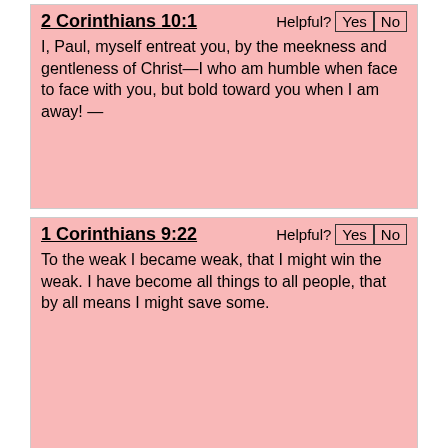2 Corinthians 10:1  Helpful? Yes No
I, Paul, myself entreat you, by the meekness and gentleness of Christ—I who am humble when face to face with you, but bold toward you when I am away! —
1 Corinthians 9:22  Helpful? Yes No
To the weak I became weak, that I might win the weak. I have become all things to all people, that by all means I might save some.
2 Corinthians 13:4  Helpful? Yes No